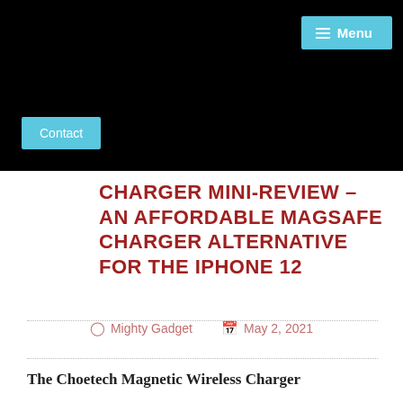Menu
Contact
CHARGER MINI-REVIEW – AN AFFORDABLE MAGSAFE CHARGER ALTERNATIVE FOR THE IPHONE 12
Mighty Gadget   May 2, 2021
The Choetech Magnetic Wireless Charger